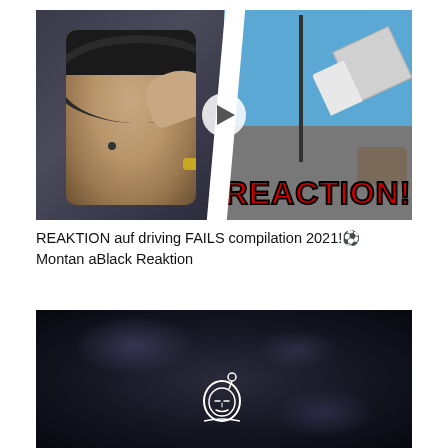[Figure (screenshot): YouTube video thumbnail showing a man with headphones and cap covering his face in shock on the left, and a truck crashing/tipping over at an intersection on the right, with 'REACTION!' text in red bold letters on the bottom right portion]
REAKTION auf driving FAILS compilation 2021!⚽ MontanaBlack Reaktion
[Figure (screenshot): Dark video thumbnail with a nebula/space-like dark background and a small white cartoon mascot logo at the bottom center]